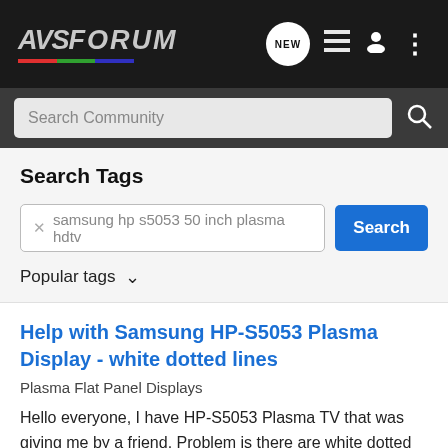[Figure (screenshot): AVSForum navigation bar with logo, NEW bubble, list icon, user icon, and more options icon on dark background]
[Figure (screenshot): Dark search bar with 'Search Community' placeholder text and search icon]
Search Tags
× samsung hp s5053 50 inch plasma hdtv
Popular tags
Help with Samsung HP-S5053 Plasma Display - white dotted lines
Plasma Flat Panel Displays
Hello everyone, I have HP-S5053 Plasma TV that was giving me by a friend. Problem is there are white dotted lines vertically and horizontally. My friend told me that vertical lines on the right side started long time ago (1 year) but the